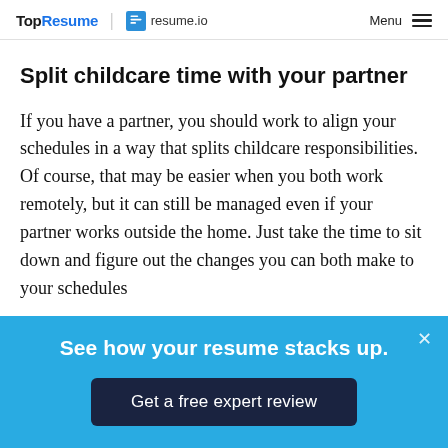TopResume | resume.io  Menu
Split childcare time with your partner
If you have a partner, you should work to align your schedules in a way that splits childcare responsibilities. Of course, that may be easier when you both work remotely, but it can still be managed even if your partner works outside the home. Just take the time to sit down and figure out the changes you can both make to your schedules
[Figure (infographic): Blue popup banner with white text 'See how your resume stacks up.' and a dark navy button 'Get a free expert review' with a close (×) button in the top right corner.]